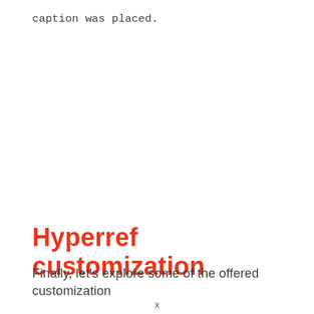caption was placed.
Hyperref customization
Finally, let's explore some of the offered customization
x